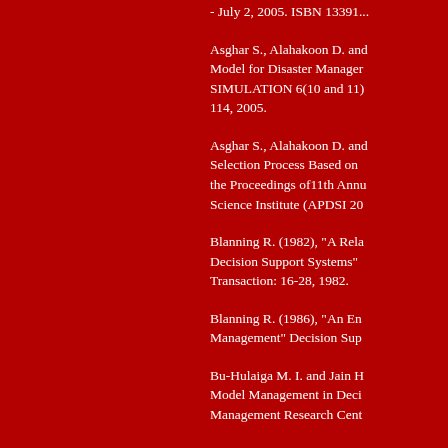- July 2, 2005. ISBN 13391...
Asghar S., Alahakoon D. and... Model for Disaster Manager... SIMULATION 6(10 and 11)... 114, 2005.
Asghar S., Alahakoon D. and... Selection Process Based on ... the Proceedings of11th Annu... Science Institute (APDSI 20...
Blanning R. (1982), "A Rela... Decision Support Systems"... Transaction: 16-28, 1982.
Blanning R. (1986), "An En... Management" Decision Sup...
Bu-Hulaiga M. I. and Jain H... Model Management in Deci... Management Research Cent...